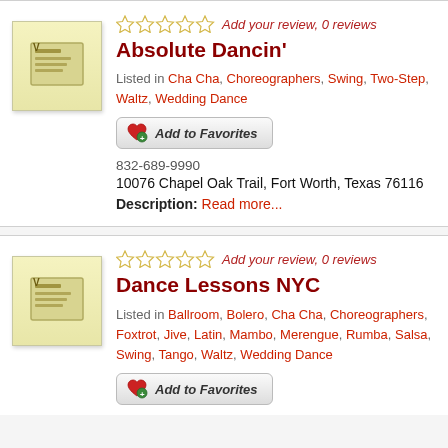Absolute Dancin' — Add your review, 0 reviews. Listed in Cha Cha, Choreographers, Swing, Two-Step, Waltz, Wedding Dance. 832-689-9990. 10076 Chapel Oak Trail, Fort Worth, Texas 76116. Description: Read more...
Dance Lessons NYC — Add your review, 0 reviews. Listed in Ballroom, Bolero, Cha Cha, Choreographers, Foxtrot, Jive, Latin, Mambo, Merengue, Rumba, Salsa, Swing, Tango, Waltz, Wedding Dance.